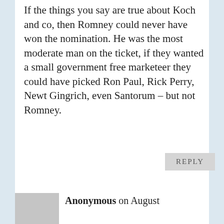If the things you say are true about Koch and co, then Romney could never have won the nomination. He was the most moderate man on the ticket, if they wanted a small government free marketeer they could have picked Ron Paul, Rick Perry, Newt Gingrich, even Santorum – but not Romney.
REPLY
Anonymous on August